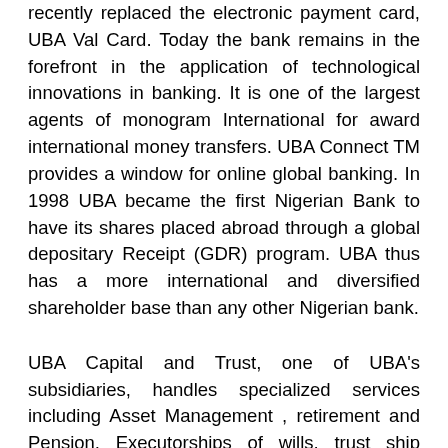recently replaced the electronic payment card, UBA Val Card. Today the bank remains in the forefront in the application of technological innovations in banking. It is one of the largest agents of monogram International for award international money transfers. UBA Connect TM provides a window for online global banking. In 1998 UBA became the first Nigerian Bank to have its shares placed abroad through a global depositary Receipt (GDR) program. UBA thus has a more international and diversified shareholder base than any other Nigerian bank.
UBA Capital and Trust, one of UBA's subsidiaries, handles specialized services including Asset Management , retirement and Pension, Executorships of wills, trust ship services etc. Nominee, custodial and share registration services are provided by UBA Securities services. An aggressive business promotion strategy has resulted in the bank's notable attention to the